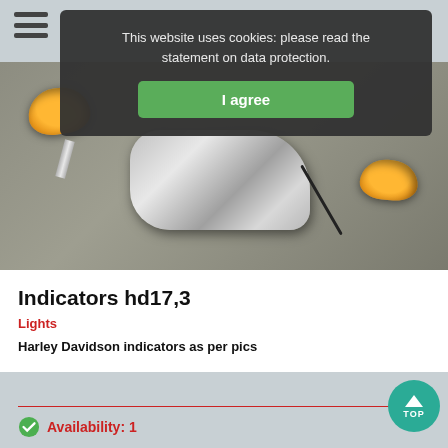[Figure (photo): Harley Davidson amber/orange turn signal indicators (two) with chrome body on a grey carpet background]
This website uses cookies: please read the statement on data protection.
I agree
Indicators hd17,3
Lights
Harley Davidson indicators as per pics
Availability: 1